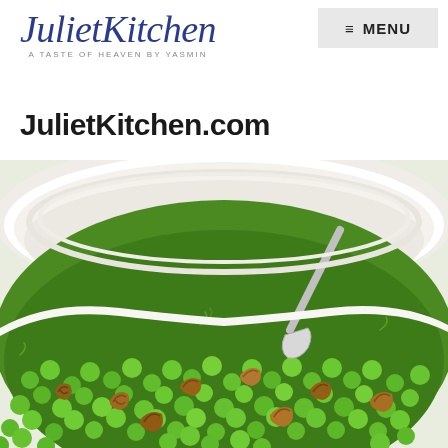≡ MENU
[Figure (logo): JulietKitchen logo in italic blue script font with tagline 'A TASTE OF HEAVEN BY YASMIN']
JulietKitchen.com
[Figure (photo): Overhead close-up photo of a white bowl filled with green peas and caramelized walnuts, with a spoon, herb garnish visible]